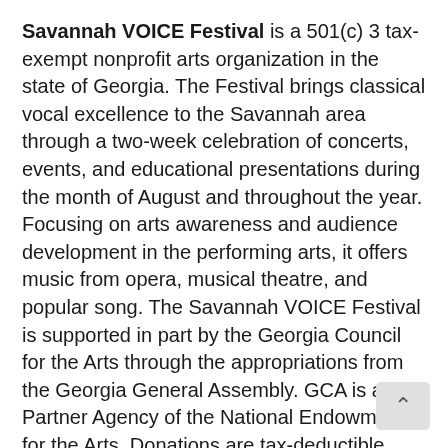Savannah VOICE Festival is a 501(c) 3 tax-exempt nonprofit arts organization in the state of Georgia. The Festival brings classical vocal excellence to the Savannah area through a two-week celebration of concerts, events, and educational presentations during the month of August and throughout the year. Focusing on arts awareness and audience development in the performing arts, it offers music from opera, musical theatre, and popular song. The Savannah VOICE Festival is supported in part by the Georgia Council for the Arts through the appropriations from the Georgia General Assembly. GCA is a Partner Agency of the National Endowment for the Arts. Donations are tax-deductible.
The VOICExperience Foundation is a 501(c)( non-profit organization whose mission is to